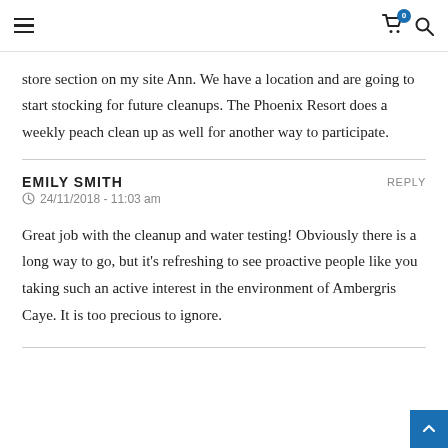Navigation header with hamburger menu, cart icon with badge 0, and search icon
store section on my site Ann. We have a location and are going to start stocking for future cleanups. The Phoenix Resort does a weekly peach clean up as well for another way to participate.
EMILY SMITH    REPLY
24/11/2018 - 11:03 am
Great job with the cleanup and water testing! Obviously there is a long way to go, but it’s refreshing to see proactive people like you taking such an active interest in the environment of Ambergris Caye. It is too precious to ignore.